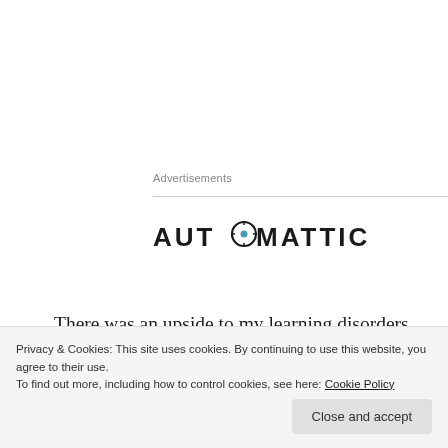Advertisements
[Figure (logo): Automattic logo — bold uppercase sans-serif letters 'AUTOMATTIC' with a circular compass-like icon replacing the letter 'O' in 'AUTO', in dark charcoal/black color]
There was an upside to my learning disorders and that is, I learned to “put things together” as I was so often “solving puzzles” (that is, life), much of what others took for granted, by putting together pieces of various aspects of a project.
Privacy & Cookies: This site uses cookies. By continuing to use this website, you agree to their use.
To find out more, including how to control cookies, see here: Cookie Policy